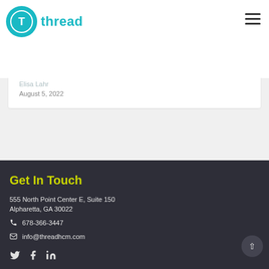[Figure (logo): Thread HCM logo: teal circle with T inside, followed by 'thread' in teal text]
...places to Work List!
Elisa Lahr
August 5, 2022
Get In Touch
555 North Point Center E, Suite 150
Alpharetta, GA 30022
678-366-3447
info@threadhcm.com
[Figure (illustration): Social media icons: Twitter bird, Facebook f, LinkedIn in]